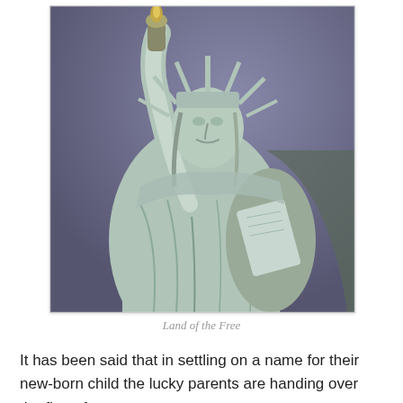[Figure (photo): Close-up photograph of the Statue of Liberty against a purple-grey sky background, showing the upper body, raised torch arm, crown with spikes, and tablet in left arm. The statue appears in a greenish-white patina color.]
Land of the Free
It has been said that in settling on a name for their new-born child the lucky parents are handing over the first of